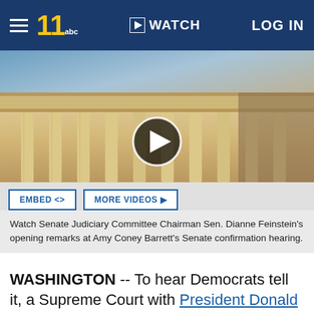WATCH  LOG IN
[Figure (screenshot): Supreme Court building facade with play button overlay for video]
EMBED <>   MORE VIDEOS ▶
Watch Senate Judiciary Committee Chairman Sen. Dianne Feinstein's opening remarks at Amy Coney Barrett's Senate confirmation hearing.
WASHINGTON -- To hear Democrats tell it, a Supreme Court with President Donald Trump's nominee Amy Coney Barrett could quickly get rid of